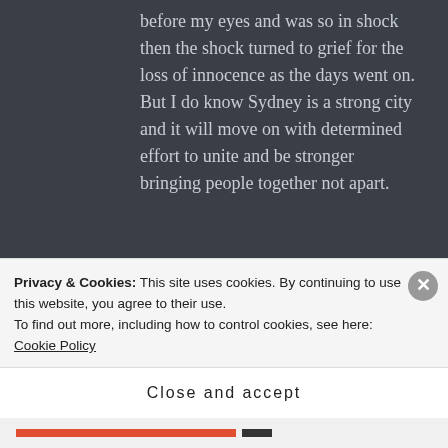before my eyes and was so in shock then the shock turned to grief for the loss of innocence as the days went on. But I do know Sydney is a strong city and it will move on with determined effort to unite and be stronger bringing people together not apart.
★ Liked by 1 person
KAZBLAH says:   ↩ Reply
Privacy & Cookies: This site uses cookies. By continuing to use this website, you agree to their use.
To find out more, including how to control cookies, see here: Cookie Policy
Close and accept